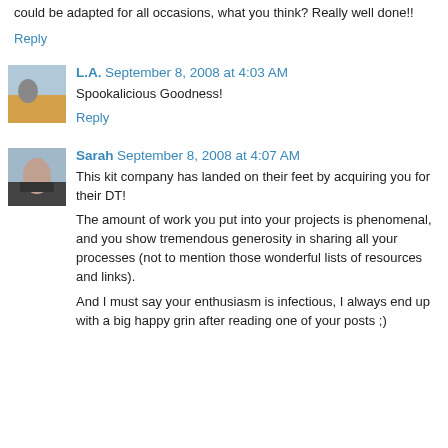could be adapted for all occasions, what you think? Really well done!!
Reply
L.A.  September 8, 2008 at 4:03 AM
Spookalicious Goodness!
Reply
Sarah  September 8, 2008 at 4:07 AM
This kit company has landed on their feet by acquiring you for their DT!
The amount of work you put into your projects is phenomenal, and you show tremendous generosity in sharing all your processes (not to mention those wonderful lists of resources and links).
And I must say your enthusiasm is infectious, I always end up with a big happy grin after reading one of your posts ;)